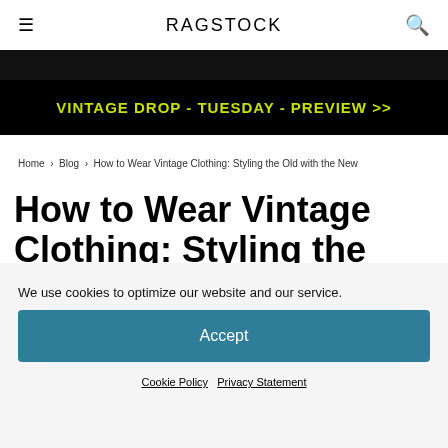RAGSTOCK
[Figure (screenshot): Black banner strip with faint text partially visible at top]
VINTAGE DROP - TUESDAY - PREVIEW >>
Home › Blog › How to Wear Vintage Clothing: Styling the Old with the New
How to Wear Vintage Clothing: Styling the Old with the New
We use cookies to optimize our website and our service.
Accept
Cookie Policy   Privacy Statement